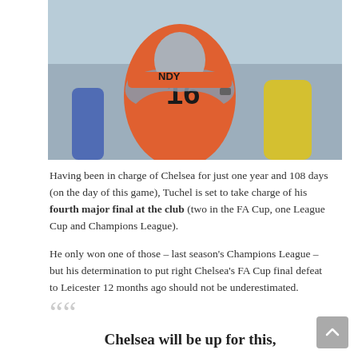[Figure (photo): Two people in an embrace on a football pitch; one wearing an orange jersey with number 16, the other in a grey top. Another player in yellow visible in background.]
Having been in charge of Chelsea for just one year and 108 days (on the day of this game), Tuchel is set to take charge of his fourth major final at the club (two in the FA Cup, one League Cup and Champions League).
He only won one of those – last season's Champions League – but his determination to put right Chelsea's FA Cup final defeat to Leicester 12 months ago should not be underestimated.
Chelsea will be up for this,